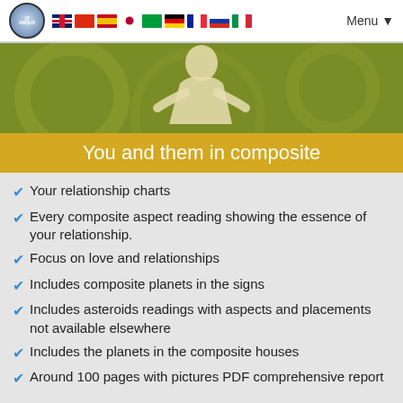12 ANOUS [logo] [flags: UK, China, Spain, Japan, Brazil, Germany, France, Russia, Italy] Menu
[Figure (illustration): Olive/green hero banner with silhouette of a person gesturing, decorative astrological patterns in background]
You and them in composite
Your relationship charts
Every composite aspect reading showing the essence of your relationship.
Focus on love and relationships
Includes composite planets in the signs
Includes asteroids readings with aspects and placements not available elsewhere
Includes the planets in the composite houses
Around 100 pages with pictures PDF comprehensive report
Show an Example